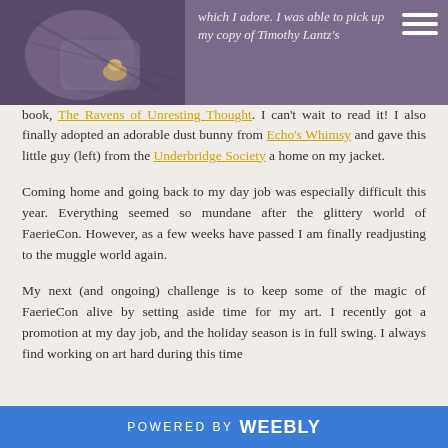[Figure (photo): A photo of a small creature or figurine on a jacket, partially obscured with purple overlay. Top portion of a blog page with image on the left side.]
which I adore. I was able to pick up my copy of Timothy Lantz's book, The Ravens of Unresting Thought. I can't wait to read it! I also finally adopted an adorable dust bunny from Echo's Whimsy and gave this little guy (left) from the Underbridge Society a home on my jacket.
Coming home and going back to my day job was especially difficult this year. Everything seemed so mundane after the glittery world of FaerieCon. However, as a few weeks have passed I am finally readjusting to the muggle world again.
My next (and ongoing) challenge is to keep some of the magic of FaerieCon alive by setting aside time for my art. I recently got a promotion at my day job, and the holiday season is in full swing. I always find working on art hard during this time
POWERED BY weebly